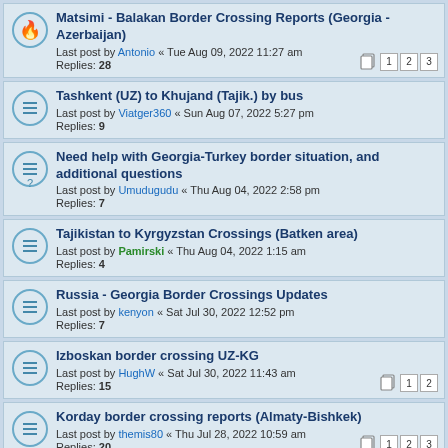Matsimi - Balakan Border Crossing Reports (Georgia - Azerbaijan)
Last post by Antonio « Tue Aug 09, 2022 11:27 am
Replies: 28
Tashkent (UZ) to Khujand (Tajik.) by bus
Last post by Viatger360 « Sun Aug 07, 2022 5:27 pm
Replies: 9
Need help with Georgia-Turkey border situation, and additional questions
Last post by Umudugudu « Thu Aug 04, 2022 2:58 pm
Replies: 7
Tajikistan to Kyrgyzstan Crossings (Batken area)
Last post by Pamirski « Thu Aug 04, 2022 1:15 am
Replies: 4
Russia - Georgia Border Crossings Updates
Last post by kenyon « Sat Jul 30, 2022 12:52 pm
Replies: 7
Izboskan border crossing UZ-KG
Last post by HughW « Sat Jul 30, 2022 11:43 am
Replies: 15
Korday border crossing reports (Almaty-Bishkek)
Last post by themis80 « Thu Jul 28, 2022 10:59 am
Replies: 20
Izboskan/S Burgondu border crossing
Last post by lonelytraveller01 « Mon Jul 25, 2022 4:12 pm